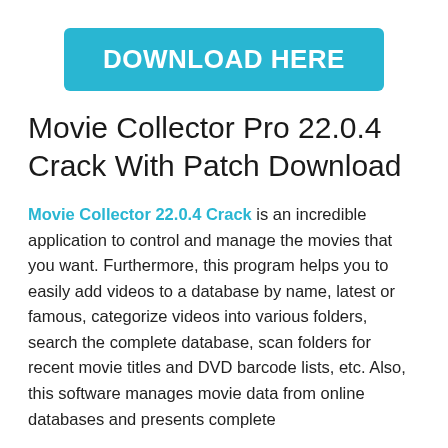[Figure (other): Cyan/teal button with white bold text reading 'DOWNLOAD HERE']
Movie Collector Pro 22.0.4 Crack With Patch Download
Movie Collector 22.0.4 Crack is an incredible application to control and manage the movies that you want. Furthermore, this program helps you to easily add videos to a database by name, latest or famous, categorize videos into various folders, search the complete database, scan folders for recent movie titles and DVD barcode lists, etc. Also, this software manages movie data from online databases and presents complete